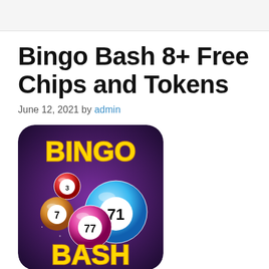Bingo Bash 8+ Free Chips and Tokens
June 12, 2021 by admin
[Figure (illustration): Bingo Bash mobile game app icon showing colorful bingo balls numbered 3, 7, 71, 77 with the text BINGO at top and BASH at bottom on a dark purple background]